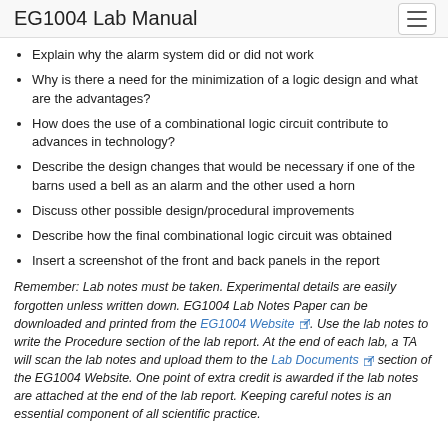EG1004 Lab Manual
Explain why the alarm system did or did not work
Why is there a need for the minimization of a logic design and what are the advantages?
How does the use of a combinational logic circuit contribute to advances in technology?
Describe the design changes that would be necessary if one of the barns used a bell as an alarm and the other used a horn
Discuss other possible design/procedural improvements
Describe how the final combinational logic circuit was obtained
Insert a screenshot of the front and back panels in the report
Remember: Lab notes must be taken. Experimental details are easily forgotten unless written down. EG1004 Lab Notes Paper can be downloaded and printed from the EG1004 Website. Use the lab notes to write the Procedure section of the lab report. At the end of each lab, a TA will scan the lab notes and upload them to the Lab Documents section of the EG1004 Website. One point of extra credit is awarded if the lab notes are attached at the end of the lab report. Keeping careful notes is an essential component of all scientific practice.